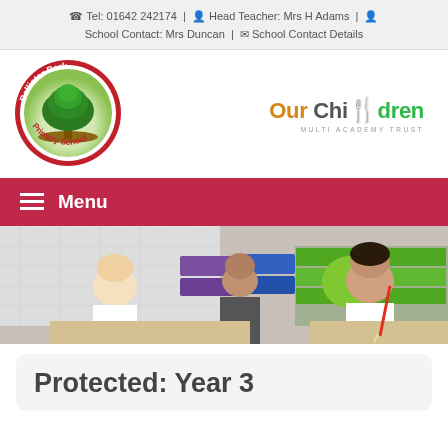Tel: 01642 242174 | Head Teacher: Mrs H Adams | School Contact: Mrs Duncan | School Contact Details
[Figure (logo): Pallister Park Primary School circular logo with tree illustration, red border, and school name]
[Figure (logo): Our Children Multi Academy Trust logo in orange, grey, red and green]
Menu
[Figure (photo): Classroom photo showing children and teacher working at desks in a primary school classroom]
Protected: Year 3